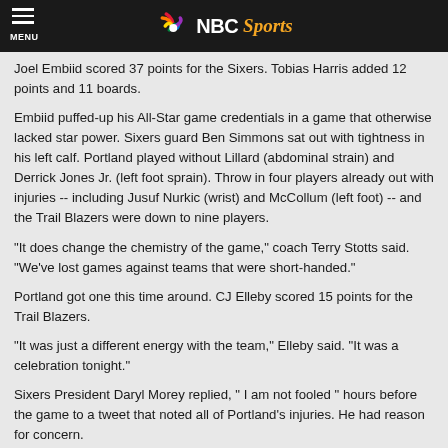NBC Sports
Joel Embiid scored 37 points for the Sixers. Tobias Harris added 12 points and 11 boards.
Embiid puffed-up his All-Star game credentials in a game that otherwise lacked star power. Sixers guard Ben Simmons sat out with tightness in his left calf. Portland played without Lillard (abdominal strain) and Derrick Jones Jr. (left foot sprain). Throw in four players already out with injuries -- including Jusuf Nurkic (wrist) and McCollum (left foot) -- and the Trail Blazers were down to nine players.
"It does change the chemistry of the game," coach Terry Stotts said. "We've lost games against teams that were short-handed."
Portland got one this time around. CJ Elleby scored 15 points for the Trail Blazers.
"It was just a different energy with the team," Elleby said. "It was a celebration tonight."
Sixers President Daryl Morey replied, " I am not fooled " hours before the game to a tweet that noted all of Portland's injuries. He had reason for concern.